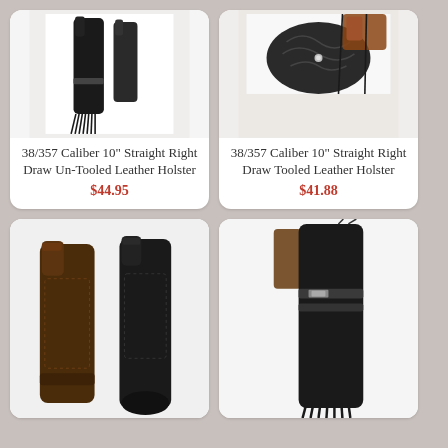[Figure (photo): Dark leather holster with fringe and strap, shown from front]
38/357 Caliber 10" Straight Right Draw Un-Tooled Leather Holster
$44.95
[Figure (photo): Tooled leather holster with decorative floral carving and brown leather pieces, laid flat]
38/357 Caliber 10" Straight Right Draw Tooled Leather Holster
$41.88
[Figure (photo): Two leather holsters side by side: brown on left, black on right]
[Figure (photo): Black rolled leather holster with strap and fringe]